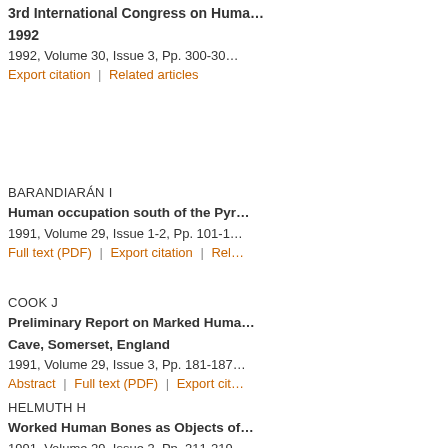3rd International Congress on Huma... 1992
1992, Volume 30, Issue 3, Pp. 300-30...
Export citation | Related articles
BARANDIARAN I
Human occupation south of the Pyr...
1991, Volume 29, Issue 1-2, Pp. 101-1...
Full text (PDF) | Export citation | Rel...
COOK J
Preliminary Report on Marked Huma... Cave, Somerset, England
1991, Volume 29, Issue 3, Pp. 181-187...
Abstract | Full text (PDF) | Export cit...
HELMUTH H
Worked Human Bones as Objects of...
1991, Volume 29, Issue 3, Pp. 211-219...